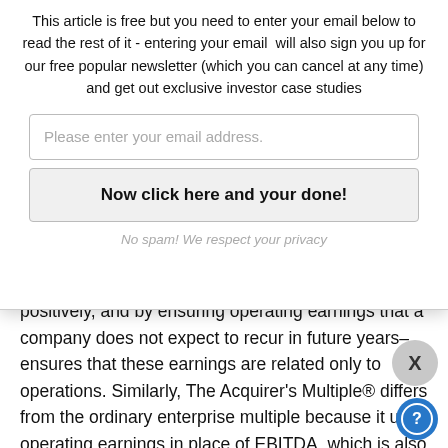This article is free but you need to enter your email below to read the rest of it - entering your email  will also sign you up for our free popular newsletter (which you can cancel at any time) and get out exclusive investor case studies
Please enter your email address.
Now click here and your done!
No spam! We respect your privacy
positively, and by ensuring operating earnings that a company does not expect to recur in future years– ensures that these earnings are related only to operations. Similarly, The Acquirer's Multiple® differs from the ordinary enterprise multiple because it uses operating earnings in place of EBITDA, which is also constructed from the bottom up. Tobias Carlisle is als